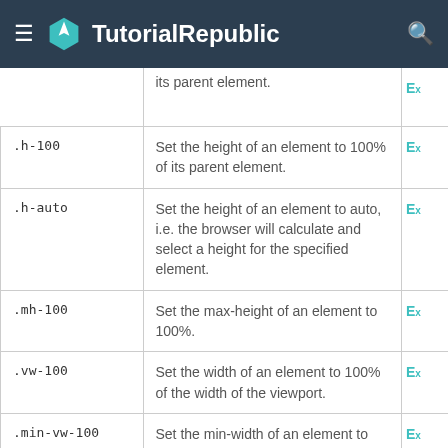TutorialRepublic
| Class | Description |  |
| --- | --- | --- |
| (partial) | its parent element. | Ex |
| .h-100 | Set the height of an element to 100% of its parent element. | Ex |
| .h-auto | Set the height of an element to auto, i.e. the browser will calculate and select a height for the specified element. | Ex |
| .mh-100 | Set the max-height of an element to 100%. | Ex |
| .vw-100 | Set the width of an element to 100% of the width of the viewport. | Ex |
| .min-vw-100 | Set the min-width of an element to 100% of the width of the viewport. | Ex |